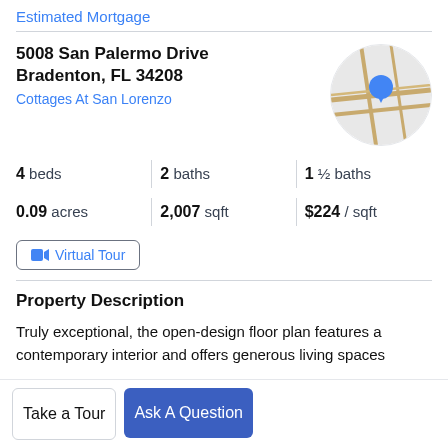Estimated Mortgage
5008 San Palermo Drive
Bradenton, FL 34208
Cottages At San Lorenzo
[Figure (map): Circular map thumbnail showing a location pin marker over a street map]
4 beds  2 baths  1 ½ baths
0.09 acres  2,007 sqft  $224 / sqft
Virtual Tour
Property Description
Truly exceptional, the open-design floor plan features a contemporary interior and offers generous living spaces
Take a Tour
Ask A Question